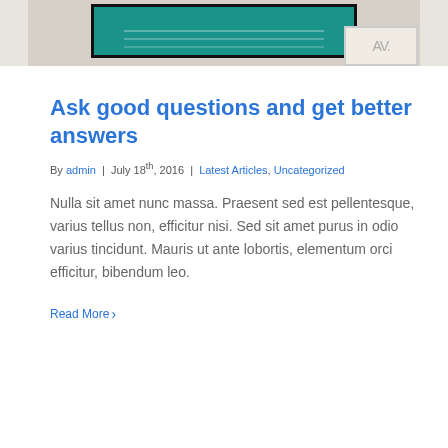[Figure (photo): Partial view of a room with a teal/green chalkboard or framed artwork on the wall, and a smaller framed piece to the right, on a beige wall background.]
Ask good questions and get better answers
By admin | July 18th, 2016 | Latest Articles, Uncategorized
Nulla sit amet nunc massa. Praesent sed est pellentesque, varius tellus non, efficitur nisi. Sed sit amet purus in odio varius tincidunt. Mauris ut ante lobortis, elementum orci efficitur, bibendum leo.
Read More >